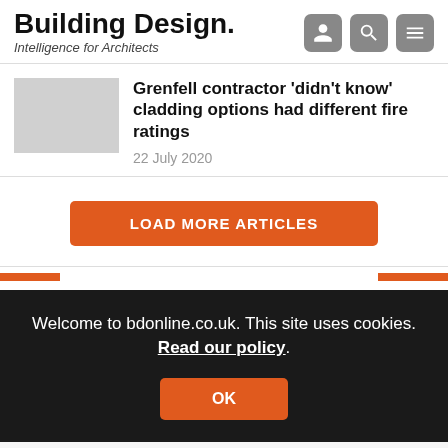Building Design. Intelligence for Architects
Grenfell contractor 'didn't know' cladding options had different fire ratings
22 July 2020
LOAD MORE ARTICLES
Welcome to bdonline.co.uk. This site uses cookies. Read our policy.
OK
Only registered users can comment on this